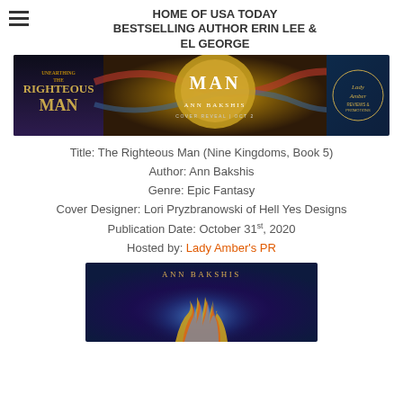HOME OF USA TODAY BESTSELLING AUTHOR ERIN LEE & EL GEORGE
[Figure (illustration): Book cover reveal banner for 'The Righteous Man' by Ann Bakshis. Dark fantasy aesthetic with golden shield/orb motif, serpentine elements, text reading 'MAN', 'ANN BAKSHIS', 'COVER REVEAL | OCT 2'. Left panel shows 'THE RIGHTEOUS MAN' text, right panel shows Lady Amber's PR circular logo.]
Title: The Righteous Man (Nine Kingdoms, Book 5)
Author: Ann Bakshis
Genre: Epic Fantasy
Cover Designer: Lori Pryzbranowski of Hell Yes Designs
Publication Date: October 31st, 2020
Hosted by: Lady Amber's PR
[Figure (illustration): Bottom portion of a book cover for Ann Bakshis showing the author name in gold letters at top, with a glowing blue-purple fantasy flame/tentacle design emerging from darkness below.]